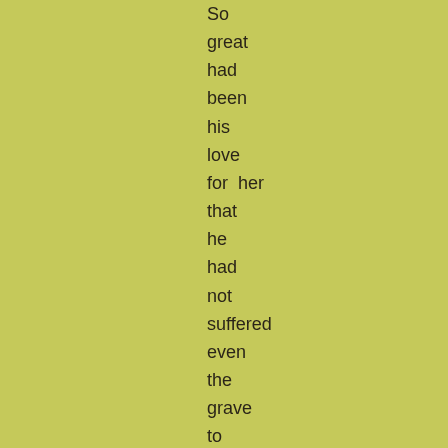So great had been his love for her that he had not suffered even the grave to hide her from